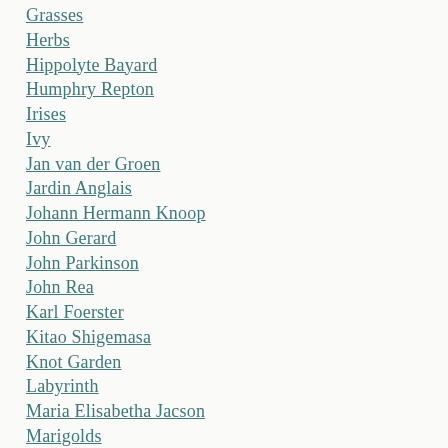Grasses
Herbs
Hippolyte Bayard
Humphry Repton
Irises
Ivy
Jan van der Groen
Jardin Anglais
Johann Hermann Knoop
John Gerard
John Parkinson
John Rea
Karl Foerster
Kitao Shigemasa
Knot Garden
Labyrinth
Maria Elisabetha Jacson
Marigolds
Martin Engelbrecht